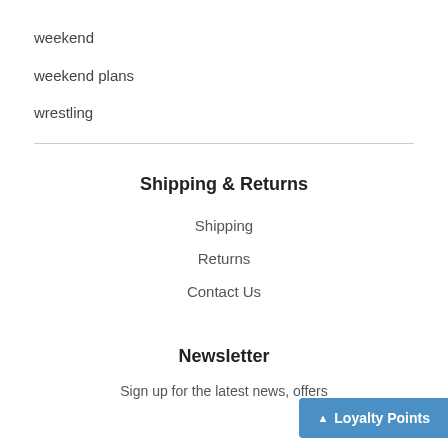weekend
weekend plans
wrestling
Shipping & Returns
Shipping
Returns
Contact Us
Newsletter
Sign up for the latest news, offers
Loyalty Points